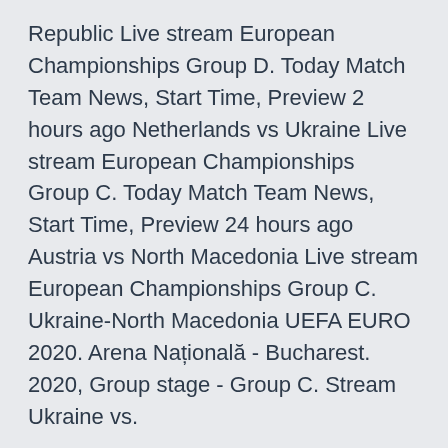Republic Live stream European Championships Group D. Today Match Team News, Start Time, Preview 2 hours ago Netherlands vs Ukraine Live stream European Championships Group C. Today Match Team News, Start Time, Preview 24 hours ago Austria vs North Macedonia Live stream European Championships Group C. Ukraine-North Macedonia UEFA EURO 2020. Arena Națională - Bucharest. 2020, Group stage - Group C. Stream Ukraine vs.
North Macedonia. June 13: Netherlands vs. Ukraine. June 17: Ukraine vs. North Macedonia. June 17: Netherlands vs.
North Macedonia (Group C) UEFA EURO 2020. ESPN/ESPN+ • UEFA European Championship. Ukraine vs North Macedonia Euro 2020, Group C Date: